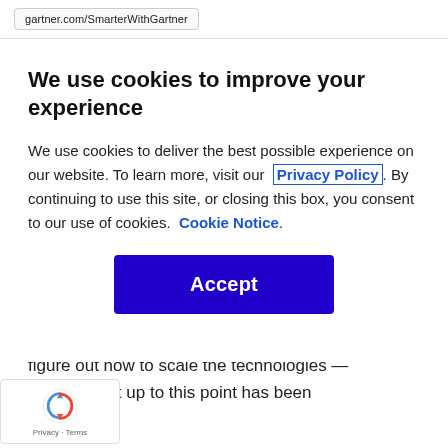gartner.com/SmarterWithGartner
We use cookies to improve your experience
We use cookies to deliver the best possible experience on our website. To learn more, visit our  Privacy Policy . By continuing to use this site, or closing this box, you consent to our use of cookies.  Cookie Notice .
Accept
figure out how to scale the technologies — mething that up to this point has been allenging.